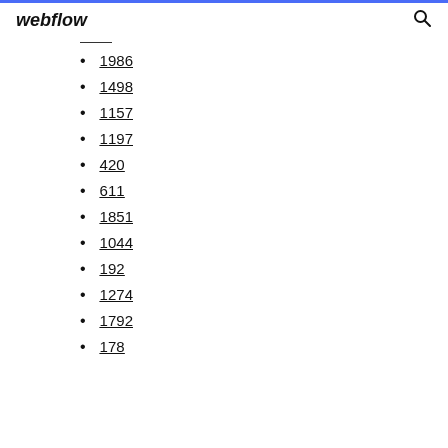webflow
1986
1498
1157
1197
420
611
1851
1044
192
1274
1792
178